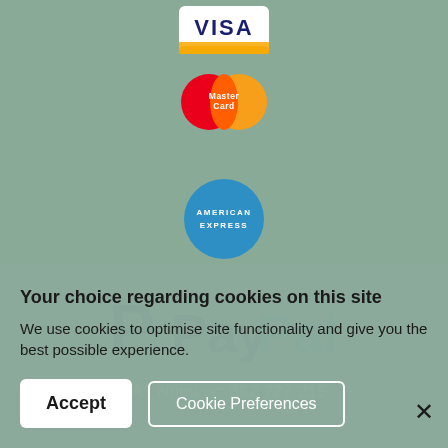[Figure (logo): VISA payment logo — blue VISA text on white rounded rectangle with orange/yellow gradient bottom]
[Figure (logo): MasterCard payment logo — two overlapping circles (red and orange) with MasterCard text]
[Figure (logo): American Express payment logo — blue circle with AMERICAN EXPRESS text in white]
[Figure (logo): PayPal logo — blue P icon followed by Pay in dark blue and Pal in light blue text]
VAT Number: 852 727 215
Your choice regarding cookies on this site
We use cookies to optimise site functionality and give you the best possible experience.
Accept
Cookie Preferences